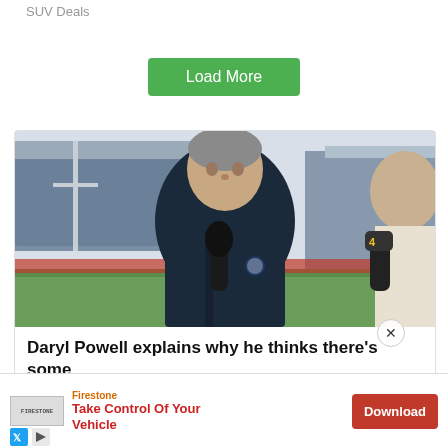SUV Deals
Load More
[Figure (photo): Man with grey hair wearing a dark blue puffer jacket being interviewed at a rugby stadium, holding a microphone. A Channel 4 microphone is visible on the right side.]
Daryl Powell explains why he thinks there's some...
Firestone
Take Control Of Your Vehicle
Download